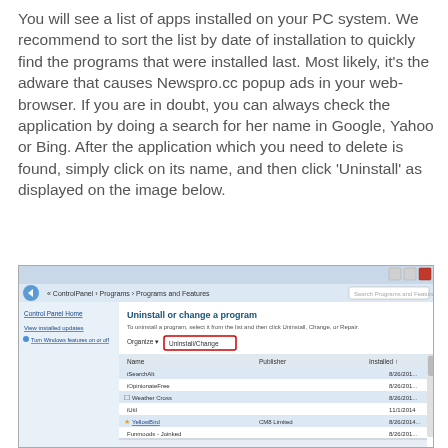You will see a list of apps installed on your PC system. We recommend to sort the list by date of installation to quickly find the programs that were installed last. Most likely, it's the adware that causes Newspro.cc popup ads in your web-browser. If you are in doubt, you can always check the application by doing a search for her name in Google, Yahoo or Bing. After the application which you need to delete is found, simply click on its name, and then click ‘Uninstall’ as displayed on the image below.
[Figure (screenshot): Windows 7 Control Panel screenshot showing Programs and Features window with Uninstall/Change button highlighted in red, and a list of installed programs including iSearchAlt, iOpinionateFree, Weather Cross, iUtil, YellowBird, Funmoods - Joinked.]